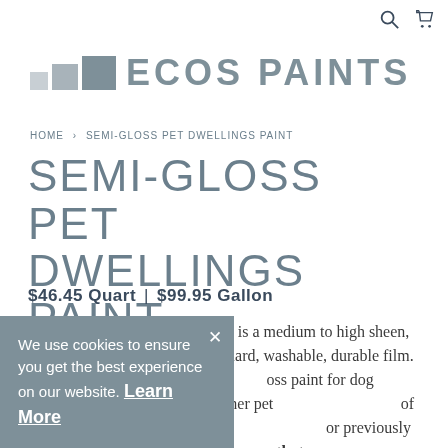ECOS PAINTS (logo with colored squares)
HOME > SEMI-GLOSS PET DWELLINGS PAINT
SEMI-GLOSS PET DWELLINGS PAINT
$46.45 Quart  |  $99.95 Gallon
Semi-Gloss Pet Dwellings Paint is a medium to high sheen, protective finish that dries to a hard, washable, durable film. Ideal for interior and exterior ...loss paint for dog houses, ...ages, and other pet ...of colors for you to choose ...or previously painted metal ...or areas that are
We use cookies to ensure you get the best experience on our website. Learn More